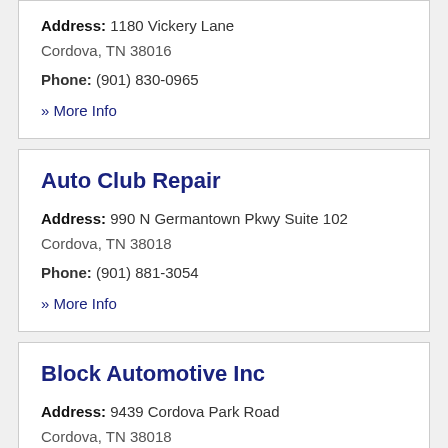Address: 1180 Vickery Lane Cordova, TN 38016 | Phone: (901) 830-0965 | » More Info
Auto Club Repair
Address: 990 N Germantown Pkwy Suite 102 Cordova, TN 38018 | Phone: (901) 881-3054 | » More Info
Block Automotive Inc
Address: 9439 Cordova Park Road Cordova, TN 38018